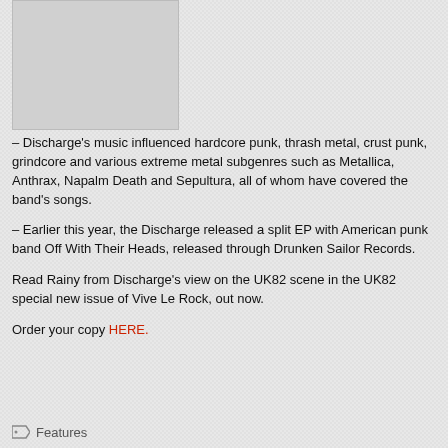[Figure (photo): Partial image visible at top of page (cropped), appears to be a photograph related to Discharge band]
– Discharge's music influenced hardcore punk, thrash metal, crust punk, grindcore and various extreme metal subgenres such as Metallica, Anthrax, Napalm Death and Sepultura, all of whom have covered the band's songs.
– Earlier this year, the Discharge released a split EP with American punk band Off With Their Heads, released through Drunken Sailor Records.
Read Rainy from Discharge's view on the UK82 scene in the UK82 special new issue of Vive Le Rock, out now.
Order your copy HERE.
Features